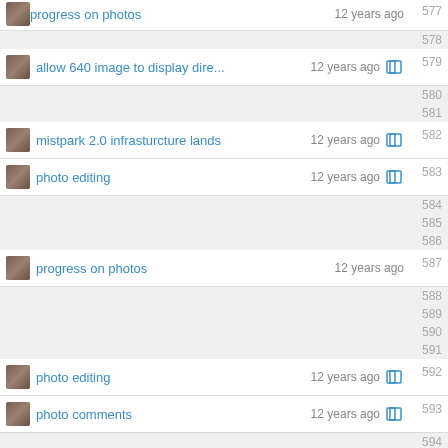progress on photos — 12 years ago — 577
578
allow 640 image to display dire... — 12 years ago — 579
580
581
mistpark 2.0 infrasturcture lands — 12 years ago — 582
photo editing — 12 years ago — 583
584
585
586
progress on photos — 12 years ago — 587
588
589
590
591
photo editing — 12 years ago — 592
photo comments — 12 years ago — 593
594
595
596
597